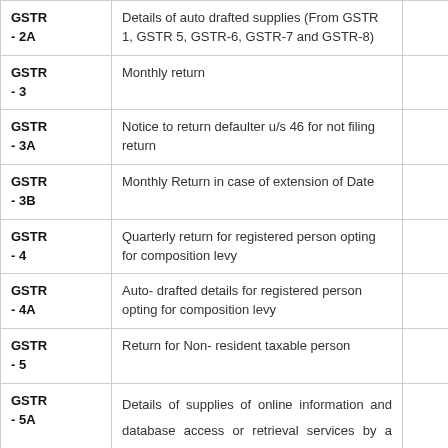| Form | Description |  |
| --- | --- | --- |
| GSTR - 2A | Details of auto drafted supplies (From GSTR 1, GSTR 5, GSTR-6, GSTR-7 and GSTR-8) |  |
| GSTR - 3 | Monthly return |  |
| GSTR - 3A | Notice to return defaulter u/s 46 for not filing return |  |
| GSTR - 3B | Monthly Return in case of extension of Date |  |
| GSTR - 4 | Quarterly return for registered person opting for composition levy |  |
| GSTR - 4A | Auto- drafted details for registered person opting for composition levy |  |
| GSTR - 5 | Return for Non- resident taxable person |  |
| GSTR - 5A | Details of supplies of online information and database access or retrieval services by a person located outside India made to non-taxable persons in India |  |